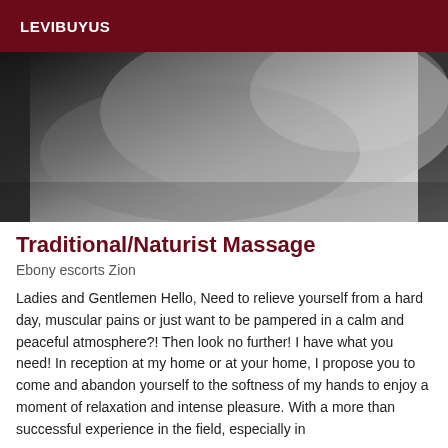LEVIBUYUS
[Figure (photo): Black and white close-up photograph of a human back/body, showing smooth skin curves in a grayscale artistic style]
Traditional/Naturist Massage
Ebony escorts Zion
Ladies and Gentlemen Hello, Need to relieve yourself from a hard day, muscular pains or just want to be pampered in a calm and peaceful atmosphere?! Then look no further! I have what you need! In reception at my home or at your home, I propose you to come and abandon yourself to the softness of my hands to enjoy a moment of relaxation and intense pleasure. With a more than successful experience in the field, especially in